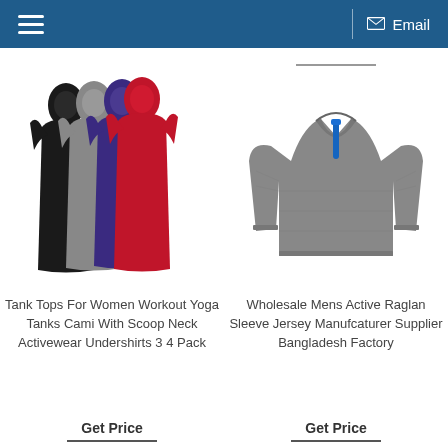☰  Email
[Figure (photo): Four women's racerback tank tops in black, gray, purple, and red arranged in overlapping fan style]
[Figure (photo): Gray men's quarter-zip active raglan sleeve pullover jersey with blue zipper detail]
Tank Tops For Women Workout Yoga Tanks Cami With Scoop Neck Activewear Undershirts 3 4 Pack
Wholesale Mens Active Raglan Sleeve Jersey Manufcaturer Supplier Bangladesh Factory
Get Price
Get Price